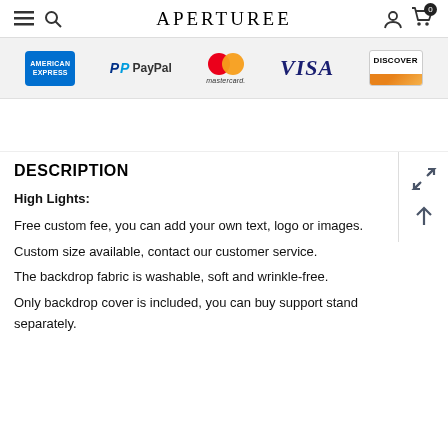APERTUREE
[Figure (logo): Payment method logos: American Express, PayPal, Mastercard, Visa, Discover]
DESCRIPTION
High Lights: Free custom fee, you can add your own text, logo or images. Custom size available, contact our customer service. The backdrop fabric is washable, soft and wrinkle-free. Only backdrop cover is included, you can buy support stand separately.